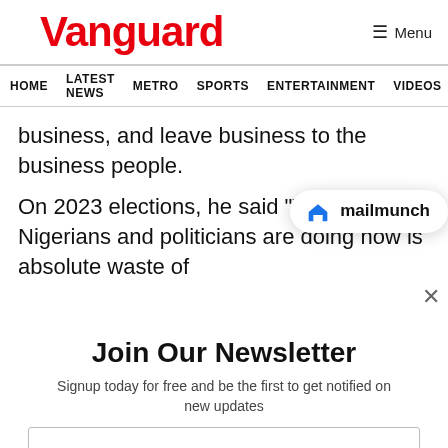Vanguard
HOME  LATEST NEWS  METRO  SPORTS  ENTERTAINMENT  VIDEOS
business, and leave business to the business people.
On 2023 elections, he said “What Nigerians and politicians are doing now is absolute waste of
[Figure (logo): Mailmunch logo with blue M icon and text 'mailmunch']
Join Our Newsletter
Signup today for free and be the first to get notified on new updates